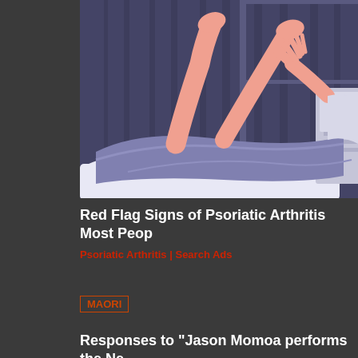[Figure (illustration): Medical illustration showing a patient lying on an examination table with legs raised, being examined by a healthcare provider. The image uses a flat design style with muted purple, pink and lavender colors depicting a clinical setting.]
Red Flag Signs of Psoriatic Arthritis Most Peop...
Psoriatic Arthritis | Search Ads
MAORI
Responses to "Jason Momoa performs the Ne...